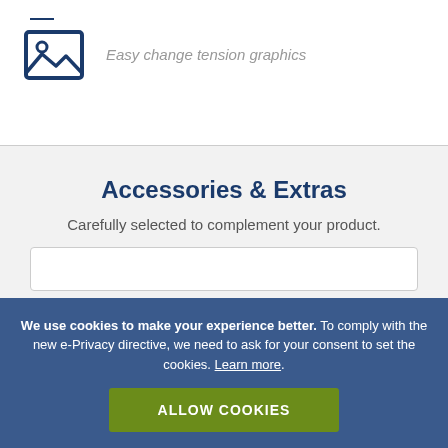[Figure (illustration): Blue line-art icon of a landscape image/photo placeholder with mountain and sun]
Easy change tension graphics
Accessories & Extras
Carefully selected to complement your product.
We use cookies to make your experience better. To comply with the new e-Privacy directive, we need to ask for your consent to set the cookies. Learn more.